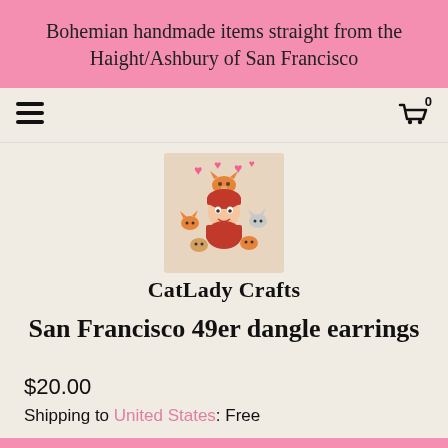Bohemian handmade items straight from the Haight/Ashbury of San Francisco
[Figure (logo): CatLady Crafts shop logo: cartoon woman surrounded by cats with hearts]
CatLady Crafts
San Francisco 49er dangle earrings
$20.00
Shipping to United States: Free